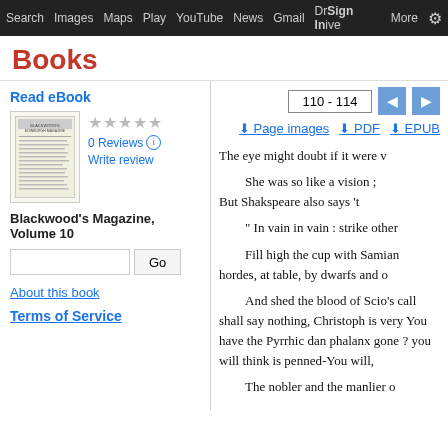Search  Images  Maps  Play  YouTube  News  Gmail  Drive  More  Sign in
Books
110 - 114
Page images  PDF  EPUB
Read eBook
[Figure (illustration): Thumbnail of Blackwood's Magazine cover]
0 Reviews
Write review
Blackwood's Magazine, Volume 10
About this book
Terms of Service
The eye might doubt if it were v

She was so like a vision ;
But Shakspeare also says 't

" In vain in vain : strike other

Fill high the cup with Samian hordes, at table, by dwarfs and o

And shed the blood of Scio's call shall say nothing, Christoph is very You have the Pyrrhic dan phalanx gone ? you will think is penned-You will,

The nobler and the manlier o